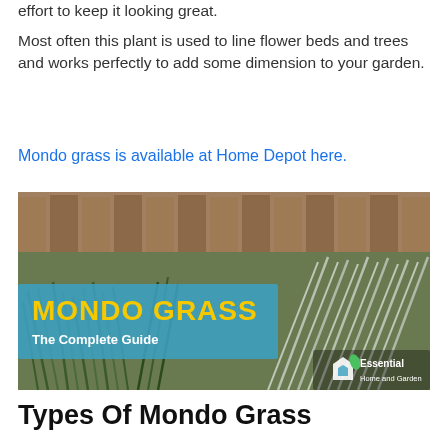effort to keep it looking great.
Most often this plant is used to line flower beds and trees and works perfectly to add some dimension to your garden.
Mondo grass is available at Home Depot here.
[Figure (photo): Mondo Grass - The Complete Guide. Photo of mondo grass plants with blue banner overlay and Essential Home and Garden logo watermark.]
Types Of Mondo Grass